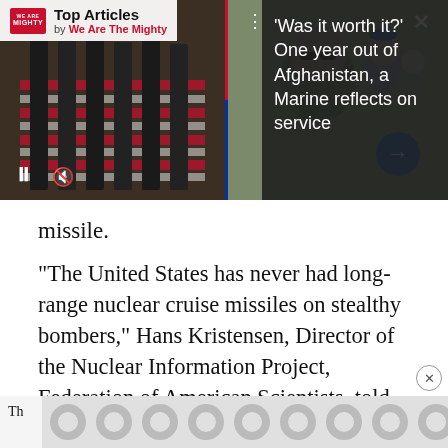[Figure (screenshot): Top Articles banner from We Are The Mighty showing two photos: left is draped American flags on coffins at military ceremony, right is a soldier selfie with family. Dark panel on right reads: 'Was it worth it? One year out of Afghanistan, a Marine reflects on service']
missile.
“The United States has never had long-range nuclear cruise missiles on stealthy bombers,” Hans Kristensen, Director of the Nuclear Information Project, Federation of American Scientists, told Warrior Maven.
[Figure (other): Advertisement strip at the bottom with repeating circular pattern]